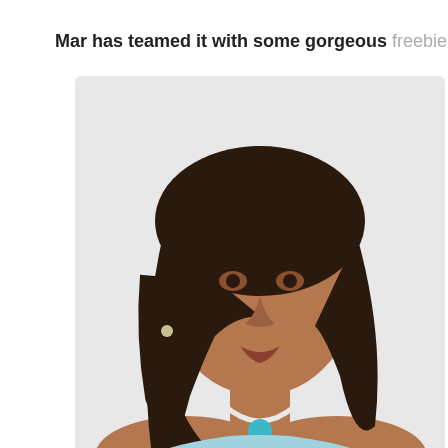Mar has teamed it with some gorgeous freebie jewellery by RealEvil:
[Figure (illustration): 3D avatar of a woman with dark hair wearing a light blue strapless dress and pearl necklace with teal pendant. Overlaid text labels on the right side: 'shape, eyes, hair LL Maria', 'skin LL Shawna', 'necklace RealEvil freebie', 'body, dress TMP freebie']
And some great dollarbie heels for TMP Mid feet by Horacia Hoof of H.H. Designs:
[Figure (illustration): Partial view of 3D avatar legs/feet wearing heels, with overlaid label 'shoes' visible at the right]